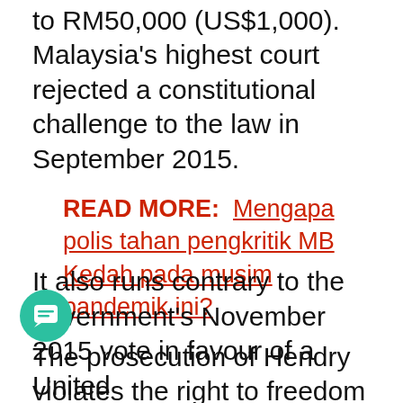to RM50,000 (US$1,000). Malaysia's highest court rejected a constitutional challenge to the law in September 2015.
READ MORE:  Mengapa polis tahan pengkritik MB Kedah pada musim pandemik ini?
The prosecution of Hendry violates the right to freedom of expression under international human rights law, Human Rights Watch said. Bringing criminal penalties for possessing or privately showing a film without government approval imposes a disproportionate burden on a fundamental right.
It also runs contrary to the government's November 2015 vote in favour of a United